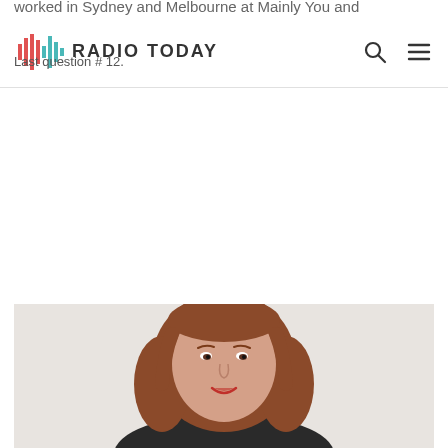Radio Today — navigation header with logo, search and menu icons
worked in Sydney and Melbourne at Mainly You and ... Last question #12.
[Figure (photo): Portrait photo of a woman with reddish-brown shoulder-length hair, wearing dark clothing, smiling, against a light background]